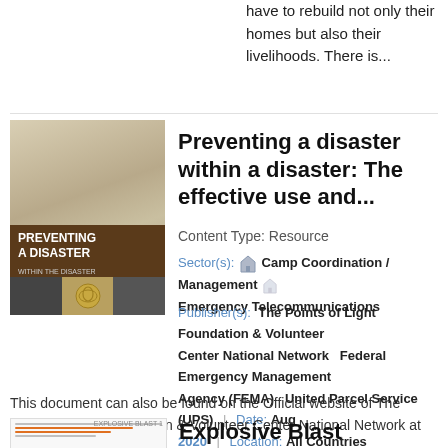have to rebuild not only their homes but also their livelihoods. There is...
Preventing a disaster within a disaster: The effective use and...
Content Type: Resource
Sector(s): Camp Coordination / Management  Emergency Telecommunications
Publisher(s): The Points of Light Foundation & Volunteer Center National Network   Federal Emergency Management Agency (FEMA)   United Parcel Service (UPS) | Date: Aug 2020 | Location: All Countries
This document can also be found on the Official website of The Points of Light Foundation & Volunteer Center National Network at https://www....
Explosive Blast